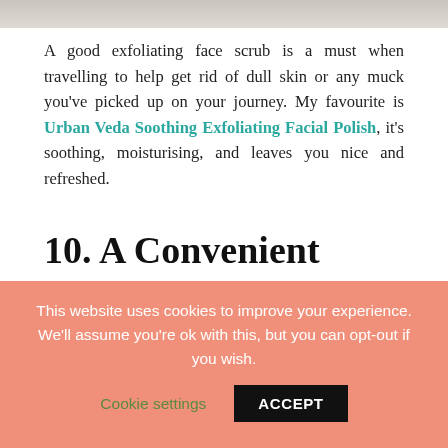[Figure (photo): Top cropped portion of a lifestyle/beauty photo, showing a light-coloured background with soft golden tones.]
A good exfoliating face scrub is a must when travelling to help get rid of dull skin or any muck you've picked up on your journey. My favourite is Urban Veda Soothing Exfoliating Facial Polish, it's soothing, moisturising, and leaves you nice and refreshed.
10. A Convenient Makeup Remover
[Figure (photo): Bottom portion of a lifestyle photo showing teal/mint fabric and a white flower decoration with a gold centre, and a teal bottle on the right.]
This website uses cookies to improve your experience. We'll assume you're ok with this, but you can opt-out if you wish.
Cookie settings   ACCEPT